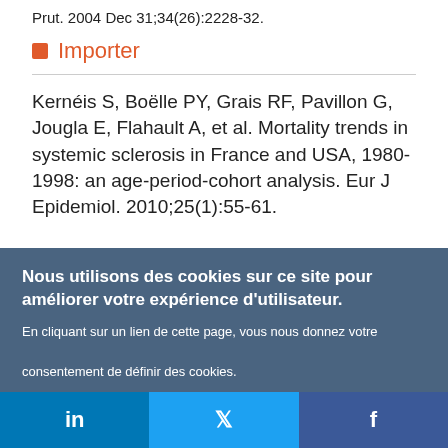Prut. 2004 Dec 31;34(26):2228-32.
Importer
Kernéis S, Boëlle PY, Grais RF, Pavillon G, Jougla E, Flahault A, et al. Mortality trends in systemic sclerosis in France and USA, 1980-1998: an age-period-cohort analysis. Eur J Epidemiol. 2010;25(1):55-61.
Nous utilisons des cookies sur ce site pour améliorer votre expérience d'utilisateur.

En cliquant sur un lien de cette page, vous nous donnez votre consentement de définir des cookies.
Oui, je suis d'accord
Plus d'infos
in   Twitter   f